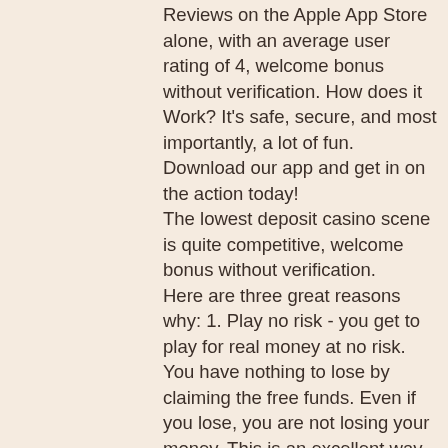Reviews on the Apple App Store alone, with an average user rating of 4, welcome bonus without verification. How does it Work? It's safe, secure, and most importantly, a lot of fun. Download our app and get in on the action today! The lowest deposit casino scene is quite competitive, welcome bonus without verification. Here are three great reasons why: 1. Play no risk - you get to play for real money at no risk. You have nothing to lose by claiming the free funds. Even if you lose, you are not losing your money. This is an excellent way to build up your skill and test out your luck, welcome bonus without verification.
Casino video footage
Start trading on “one-two-three” without deposit and verification. No deposit welcome bonus offerings. A special place among the various marketing tools used by brokerage